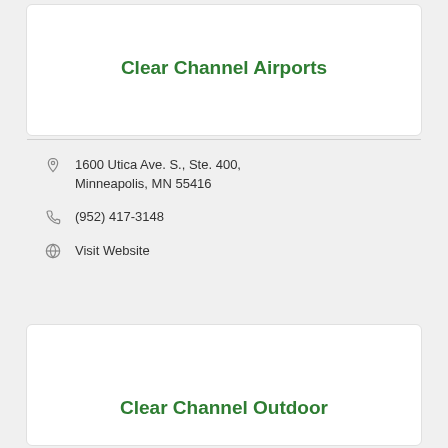Clear Channel Airports
1600 Utica Ave. S., Ste. 400, Minneapolis, MN 55416
(952) 417-3148
Visit Website
Clear Channel Outdoor